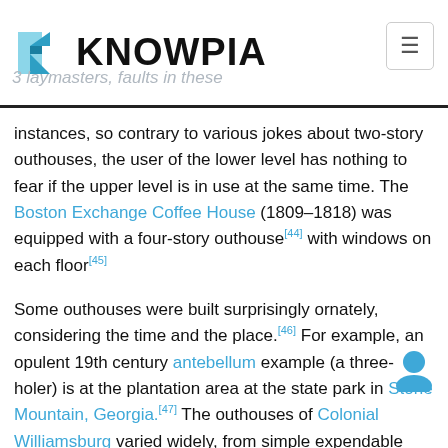KNOWPIA
instances, so contrary to various jokes about two-story outhouses, the user of the lower level has nothing to fear if the upper level is in use at the same time. The Boston Exchange Coffee House (1809–1818) was equipped with a four-story outhouse[44] with windows on each floor[45]
Some outhouses were built surprisingly ornately, considering the time and the place.[46] For example, an opulent 19th century antebellum example (a three-holer) is at the plantation area at the state park in Stone Mountain, Georgia.[47] The outhouses of Colonial Williamsburg varied widely, from simple expendable temporary wood structures to high-s. brick.[48] Thomas Jefferson designed and had built